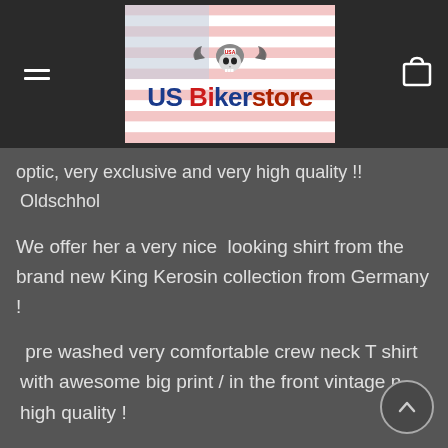[Figure (logo): US Bikerstore logo with a winged skull wearing a USA helmet, on a US flag background. Text reads 'US Bikerstore' in red/blue/orange patriotic lettering.]
optic, very exclusive and very high quality !!
 Oldschhol
We offer her a very nice  looking shirt from the brand new King Kerosin collection from Germany !
pre washed very comfortable crew neck T shirt with awesome big print / in the front vintage optic, very exclusive and very high quality !!
high quality !